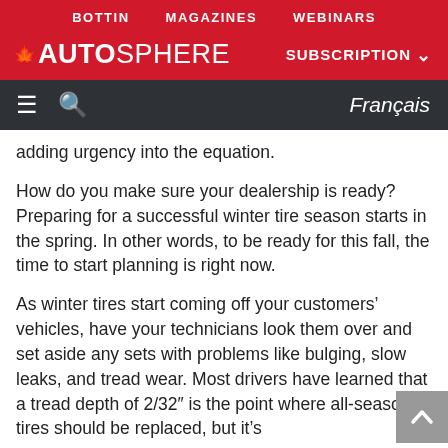BOTTIN   MAGAZINES   WEBINARS
AUTOSPHERE   SUBSCRIPTION
≡  🔍  Français
adding urgency into the equation.
How do you make sure your dealership is ready? Preparing for a successful winter tire season starts in the spring. In other words, to be ready for this fall, the time to start planning is right now.
As winter tires start coming off your customers' vehicles, have your technicians look them over and set aside any sets with problems like bulging, slow leaks, and tread wear. Most drivers have learned that a tread depth of 2/32″ is the point where all-season tires should be replaced, but it's